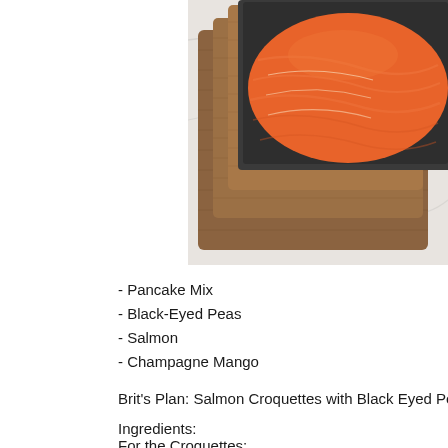[Figure (photo): Overhead view of raw salmon fillet in a dark tray on stacked wooden cutting boards on a white marble surface]
- Pancake Mix
- Black-Eyed Peas
- Salmon
- Champagne Mango
Brit's Plan: Salmon Croquettes with Black Eyed Pe...
Ingredients:
For the Croquettes: